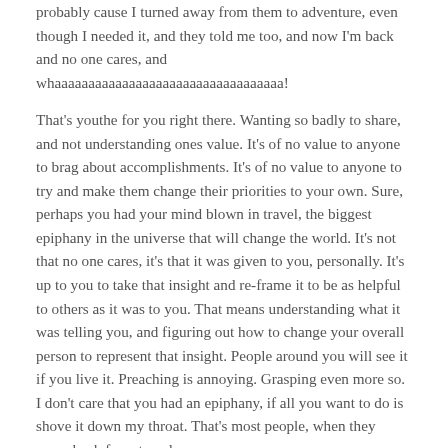probably cause I turned away from them to adventure, even though I needed it, and they told me too, and now I'm back and no one cares, and whaaaaaaaaaaaaaaaaaaaaaaaaaaaaaaaaaa!
That's youthe for you right there. Wanting so badly to share, and not understanding ones value. It's of no value to anyone to brag about accomplishments. It's of no value to anyone to try and make them change their priorities to your own. Sure, perhaps you had your mind blown in travel, the biggest epiphany in the universe that will change the world. It's not that no one cares, it's that it was given to you, personally. It's up to you to take that insight and re-frame it to be as helpful to others as it was to you. That means understanding what it was telling you, and figuring out how to change your overall person to represent that insight. People around you will see it if you live it. Preaching is annoying. Grasping even more so. I don't care that you had an epiphany, if all you want to do is shove it down my throat. That's most people, when they come back from travel.